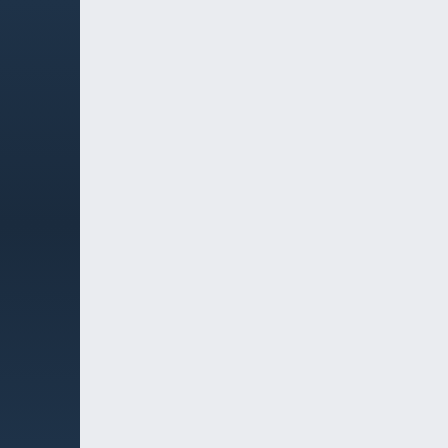The goal is to reduce the risk of access patient records in a mor
While the use of RFID chips on be cutting edge in the United St appears to be on the bleeding e
According to a published report 1,000 patients, some suffering f and other chronic illnesses, hav about the size of a grain of rice
Made by Applied Digital Solutio miniaturized RFID chip with app and tracking.
The ADS Web site says that the upper arm and is introduced un flu inoculation.
Because of its small size, the ch verification number which, once network in a similar fashion as t readers and Wi-Fi.
Other uses include implantable mobile speed pass, transmits th links it to designated credit card